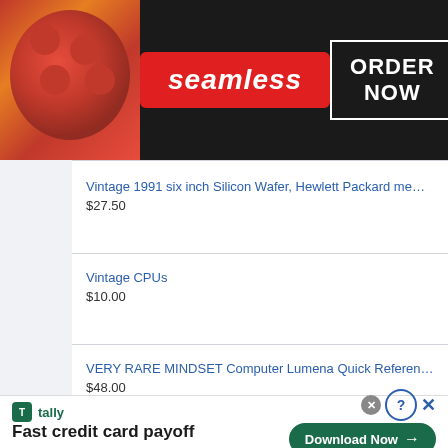[Figure (screenshot): Seamless food delivery advertisement banner with pizza image on left, red Seamless logo in center, and ORDER NOW button in white border box on right against dark background]
Vintage 1991 six inch Silicon Wafer, Hewlett Packard memory
$27.50
Vintage CPUs
$10.00
VERY RARE MINDSET Computer Lumena Quick Reference Guide W
$48.00
[Figure (screenshot): Tally app advertisement banner: Tally logo with 'Fast credit card payoff' tagline on left, Download Now button on right with close/help icons]